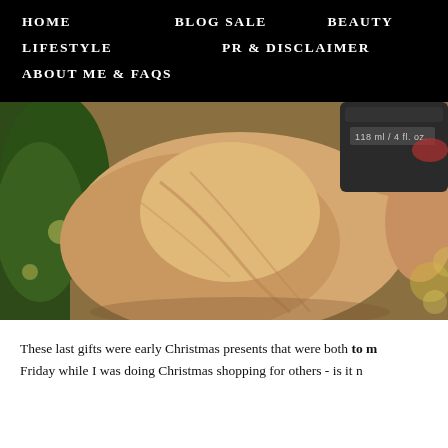HOME   BLOG SALE   BEAUTY   LIFESTYLE   PR & DISCLAIMER   ABOUT ME & FAQs
[Figure (photo): Close-up of a hand holding a dark cylindrical product container labeled '118 ml / 4 fl. oz.' with a Christmas tree with lights in the background]
These last gifts were early Christmas presents that were both to m... Friday while I was doing Christmas shopping for others - is it n...